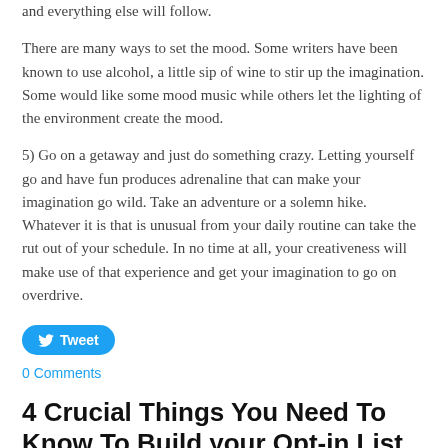and everything else will follow.
There are many ways to set the mood. Some writers have been known to use alcohol, a little sip of wine to stir up the imagination. Some would like some mood music while others let the lighting of the environment create the mood.
5) Go on a getaway and just do something crazy. Letting yourself go and have fun produces adrenaline that can make your imagination go wild. Take an adventure or a solemn hike. Whatever it is that is unusual from your daily routine can take the rut out of your schedule. In no time at all, your creativeness will make use of that experience and get your imagination to go on overdrive.
Tweet
0 Comments
4 Crucial Things You Need To Know To Build your Opt-in List